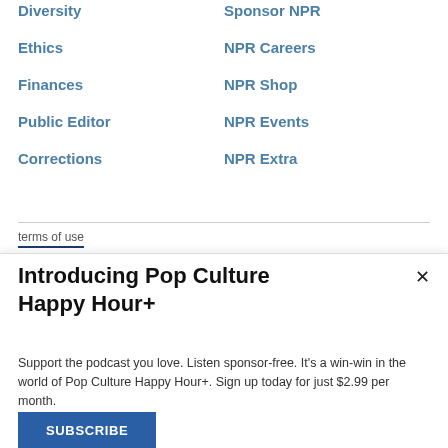Diversity
Sponsor NPR
Ethics
NPR Careers
Finances
NPR Shop
Public Editor
NPR Events
Corrections
NPR Extra
terms of use
Introducing Pop Culture Happy Hour+
Support the podcast you love. Listen sponsor-free. It's a win-win in the world of Pop Culture Happy Hour+. Sign up today for just $2.99 per month.
SUBSCRIBE